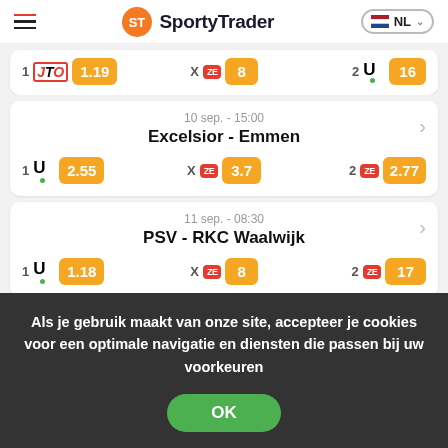[Figure (screenshot): SportyTrader website header with hamburger menu, orange ST logo, 'SportyTrader' text, and NL language selector with Dutch flag]
[Figure (screenshot): Partial match card showing odds row: 1 Unibet 1.19 | X ZE 8 | 2 U 16]
[Figure (screenshot): Match card: 10 sep. - 15:00, Excelsior - Emmen, odds 1: Unibet 2.55, X: ZE 3.7, 2: ZE 2.77]
[Figure (screenshot): Match card: 11 sep. - 08:30, PSV - RKC Waalwijk, odds 1: Unibet 1.18, X: ZE 8, 2: ZE 17]
Als je gebruik maakt van onze site, accepteer je cookies voor een optimale navigatie en diensten die passen bij uw voorkeuren